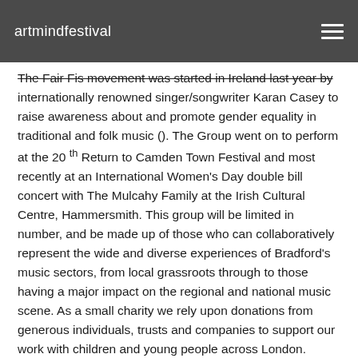artmindfestival
The Fair Fis movement was started in Ireland last year by internationally renowned singer/songwriter Karan Casey to raise awareness about and promote gender equality in traditional and folk music (). The Group went on to perform at the 20 th Return to Camden Town Festival and most recently at an International Women's Day double bill concert with The Mulcahy Family at the Irish Cultural Centre, Hammersmith. This group will be limited in number, and be made up of those who can collaboratively represent the wide and diverse experiences of Bradford's music sectors, from local grassroots through to those having a major impact on the regional and national music scene. As a small charity we rely upon donations from generous individuals, trusts and companies to support our work with children and young people across London.
Launched in September 2012, the Network has attracted over 300 members from settings as diverse as arts organisations to community nurseries, as well as freelance music practitioners and Head Teachers. Regional Early Years Music networking events